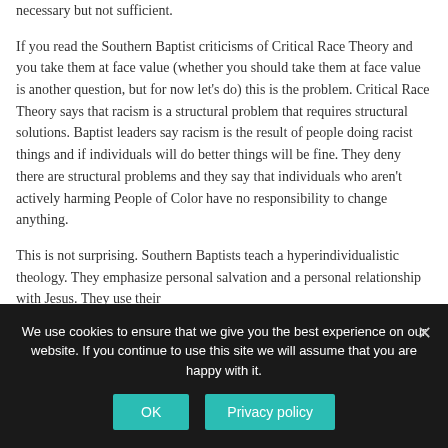necessary but not sufficient.
If you read the Southern Baptist criticisms of Critical Race Theory and you take them at face value (whether you should take them at face value is another question, but for now let's do) this is the problem. Critical Race Theory says that racism is a structural problem that requires structural solutions. Baptist leaders say racism is the result of people doing racist things and if individuals will do better things will be fine. They deny there are structural problems and they say that individuals who aren't actively harming People of Color have no responsibility to change anything.
This is not surprising. Southern Baptists teach a hyperindividualistic theology. They emphasize personal salvation and a personal relationship with Jesus. They use their
We use cookies to ensure that we give you the best experience on our website. If you continue to use this site we will assume that you are happy with it.